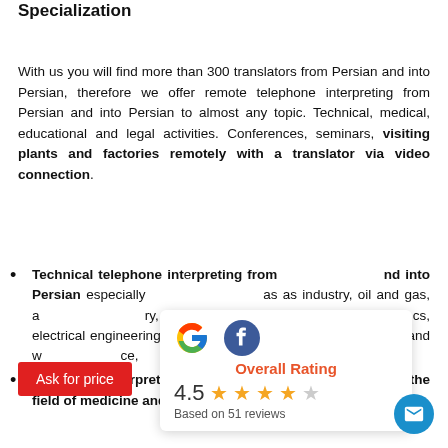Specialization
With us you will find more than 300 translators from Persian and into Persian, therefore we offer remote telephone interpreting from Persian and into Persian to almost any topic. Technical, medical, educational and legal activities. Conferences, seminars, visiting plants and factories remotely with a translator via video connection.
Technical telephone interpreting from and into Persian especially in such areas as industry, oil and gas, automotive industry, mechanical engineering, electronics, chemistry, electrical engineering, mining, telecommunications and wholesale and retail trade, infrastructure, IT
[Figure (infographic): Overall Rating panel with Google and Facebook icons, showing 4.5 stars based on 51 reviews]
Telephone Interpreting from Persian and into Persian in the field of medicine and healthcare more
Ask for price